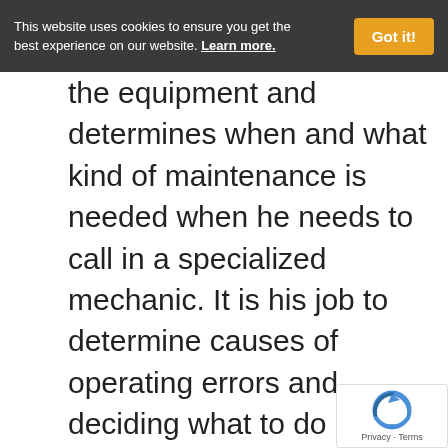This website uses cookies to ensure you get the best experience on our website. Learn more.
the equipment and determines when and what kind of maintenance is needed when he needs to call in a specialized mechanic. It is his job to determine causes of operating errors and deciding what to do about it. He knows that not only is he responsible for the amount of power sent to the customers. But he is responsible to make sure the the equipment is kept in good